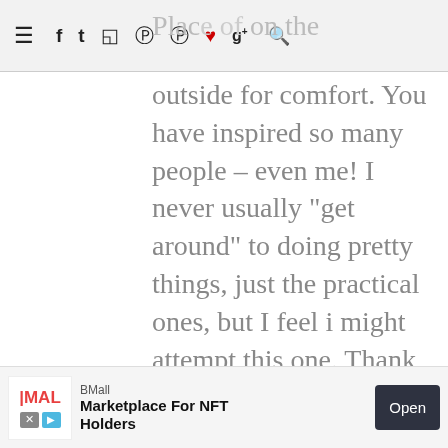Navigation bar with menu and social icons
outside for comfort. You have inspired so many people - even me! I never usually "get around" to doing pretty things, just the practical ones, but I feel i might attempt this one. Thank you.
Jen, Hertford, UK
Reply
DO IT YOURSELF DIVAS
September 10, 2011 at 5:54 PM
[Figure (logo): Blogger avatar icon - orange circle with white B logo]
BMall – Marketplace For NFT Holders – Open